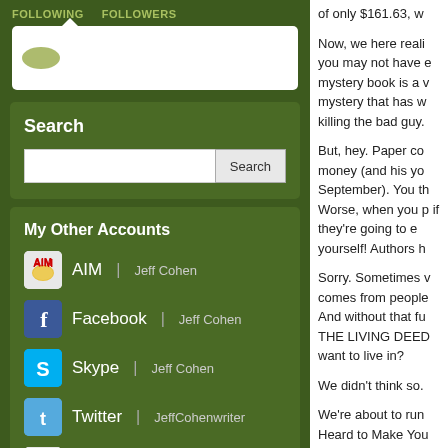FOLLOWING   FOLLOWERS
Search
My Other Accounts
AIM | Jeff Cohen
Facebook | Jeff Cohen
Skype | Jeff Cohen
Twitter | JeffCohenwriter
Yahoo! | jeffcwriter
of only $161.63, w
Now, we here reali you may not have e mystery book is a v mystery that has w killing the bad guy.
But, hey. Paper co money (and his yo September). You th Worse, when you p if they're going to e yourself! Authors h
Sorry. Sometimes v comes from people And without that fu THE LIVING DEED want to live in?
We didn't think so.
We're about to run Heard to Make You